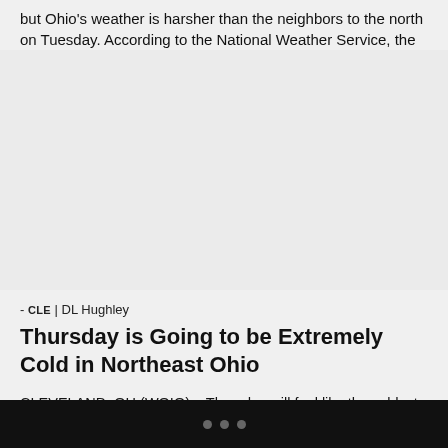but Ohio's weather is harsher than the neighbors to the north on Tuesday. According to the National Weather Service, the [...]
- CLE | DL Hughley
Thursday is Going to be Extremely Cold in Northeast Ohio
CLEVELAND, OH (WOIO) – Thursday will feel like the coldest day of the season so far in Northeast Ohio with negative wind chills expected all day. Wind chill is the perceived decrease in air